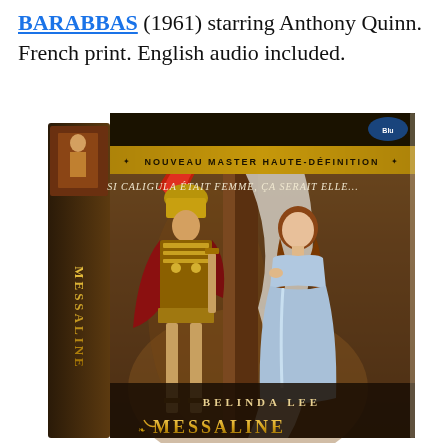BARABBAS (1961) starring Anthony Quinn. French print. English audio included.
[Figure (photo): Blu-ray box cover of 'Messaline' (MESSALINE) featuring Belinda Lee. The box art shows a Roman soldier in full armor and red plumed helmet facing a woman in a blue dress. The cover reads 'NOUVEAU MASTER HAUTE-DEFINITION', 'SI CALIGULA ETAIT FEMME, CA SERAIT ELLE...', 'BELINDA LEE', 'MESSALINE'. The spine of the box is also visible showing the title 'MESSALINE' vertically.]